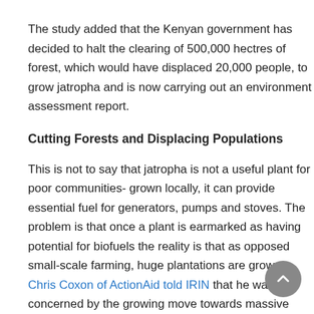The study added that the Kenyan government has decided to halt the clearing of 500,000 hectres of forest, which would have displaced 20,000 people, to grow jatropha and is now carrying out an environment assessment report.
Cutting Forests and Displacing Populations
This is not to say that jatropha is not a useful plant for poor communities- grown locally, it can provide essential fuel for generators, pumps and stoves. The problem is that once a plant is earmarked as having potential for biofuels the reality is that as opposed small-scale farming, huge plantations are grown. Chris Coxon of ActionAid told IRIN that he was concerned by the growing move towards massive plantations of jatropha in developing countries.